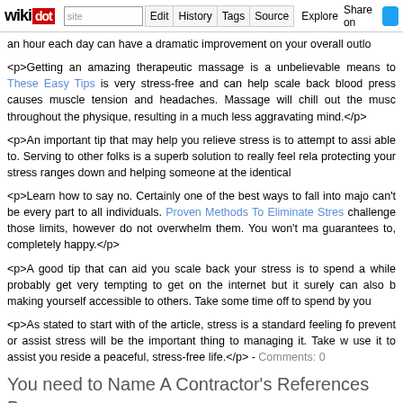wikidot | site | Edit | History | Tags | Source | Explore | Share on [Twitter]
an hour each day can have a dramatic improvement on your overall outlo
<p>Getting an amazing therapeutic massage is a unbelievable means to These Easy Tips is very stress-free and can help scale back blood press causes muscle tension and headaches. Massage will chill out the musc throughout the physique, resulting in a much less aggravating mind.</p>
<p>An important tip that may help you relieve stress is to attempt to assi able to. Serving to other folks is a superb solution to really feel rela protecting your stress ranges down and helping someone at the identical
<p>Learn how to say no. Certainly one of the best ways to fall into majo can't be every part to all individuals. Proven Methods To Eliminate Stres challenge those limits, however do not overwhelm them. You won't ma guarantees to, completely happy.</p>
<p>A good tip that can aid you scale back your stress is to spend a while probably get very tempting to get on the internet but it surely can also b making yourself accessible to others. Take some time off to spend by you
<p>As stated to start with of the article, stress is a standard feeling fo prevent or assist stress will be the important thing to managing it. Take w use it to assist you reside a peaceful, stress-free life.</p> - Comments: 0
You need to Name A Contractor's References Be 07:41
Tags: